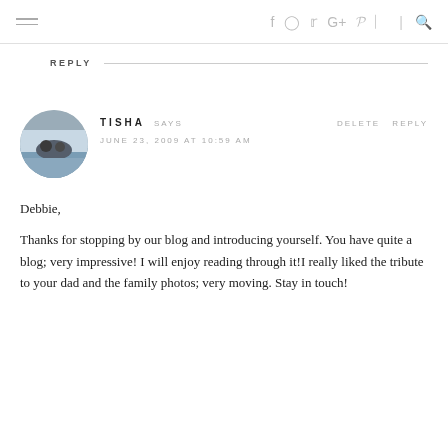f  ○  Twitter  G+  p  RSS  |  Search
REPLY
[Figure (photo): Circular avatar photo of Tisha, showing two people at a beach]
TISHA SAYS  DELETE  REPLY  JUNE 23, 2009 AT 10:59 AM
Debbie,

Thanks for stopping by our blog and introducing yourself. You have quite a blog; very impressive! I will enjoy reading through it!I really liked the tribute to your dad and the family photos; very moving. Stay in touch!